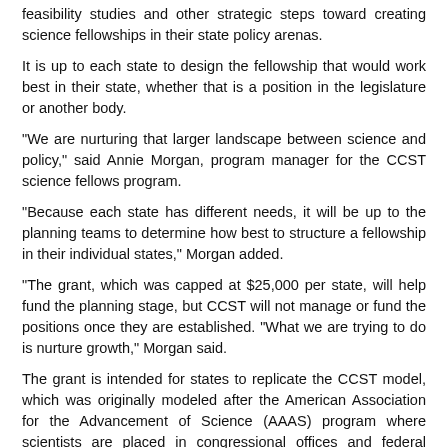feasibility studies and other strategic steps toward creating science fellowships in their state policy arenas.
It is up to each state to design the fellowship that would work best in their state, whether that is a position in the legislature or another body.
"We are nurturing that larger landscape between science and policy," said Annie Morgan, program manager for the CCST science fellows program.
"Because each state has different needs, it will be up to the planning teams to determine how best to structure a fellowship in their individual states," Morgan added.
"The grant, which was capped at $25,000 per state, will help fund the planning stage, but CCST will not manage or fund the positions once they are established. "What we are trying to do is nurture growth," Morgan said.
The grant is intended for states to replicate the CCST model, which was originally modeled after the American Association for the Advancement of Science (AAAS) program where scientists are placed in congressional offices and federal agencies for a year of public service and government leadership training.